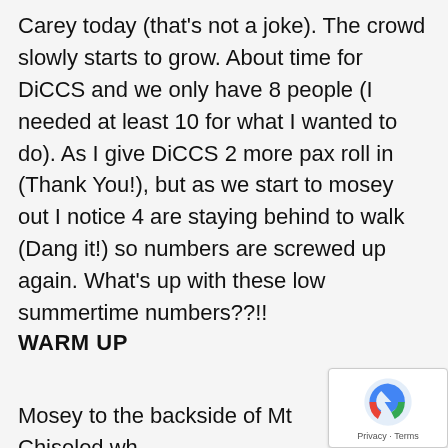Carey today (that's not a joke). The crowd slowly starts to grow. About time for DiCCS and we only have 8 people (I needed at least 10 for what I wanted to do). As I give DiCCS 2 more pax roll in (Thank You!), but as we start to mosey out I notice 4 are staying behind to walk (Dang it!) so numbers are screwed up again. What's up with these low summertime numbers??!!
WARM UP
Mosey to the backside of Mt Chiseled wh...